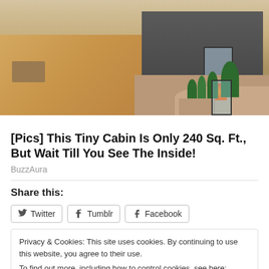[Figure (photo): Exterior photo of a small modern cabin with a wooden deck, colorful planter, dark gray siding, landscaping with rocks and grasses]
[Pics] This Tiny Cabin Is Only 240 Sq. Ft., But Wait Till You See The Inside!
BuzzAura
Share this:
Privacy & Cookies: This site uses cookies. By continuing to use this website, you agree to their use.
To find out more, including how to control cookies, see here: Cookie Policy
Close and accept